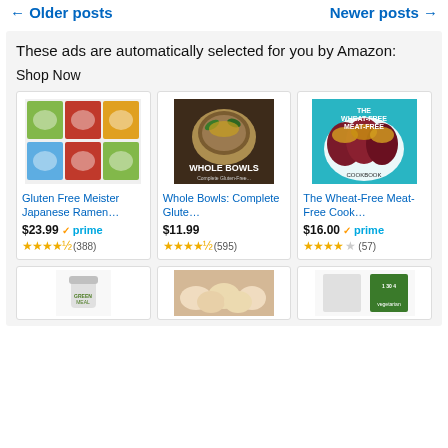← Older posts   Newer posts →
These ads are automatically selected for you by Amazon:
Shop Now
[Figure (photo): Product image: Gluten Free Meister Japanese Ramen - colorful food packaging bags]
Gluten Free Meister Japanese Ramen…
$23.99 ✓prime
★★★★½ (388)
[Figure (photo): Product image: Whole Bowls cookbook cover showing a bowl of grains and vegetables]
Whole Bowls: Complete Glute…
$11.99
★★★★½ (595)
[Figure (photo): Product image: The Wheat-Free Meat-Free Cookbook cover with stuffed bell peppers]
The Wheat-Free Meat-Free Cook…
$16.00 ✓prime
★★★★☆ (57)
[Figure (photo): Bottom row product images (partially visible): supplement jar, dumplings/buns, vegetarian book]